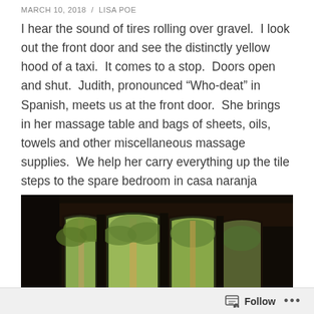MARCH 10, 2018  /  LISA POE
I hear the sound of tires rolling over gravel.  I look out the front door and see the distinctly yellow hood of a taxi.  It comes to a stop.  Doors open and shut.  Judith, pronounced “Who-deat” in Spanish, meets us at the front door.  She brings in her massage table and bags of sheets, oils, towels and other miscellaneous massage supplies.  We help her carry everything up the tile steps to the spare bedroom in casa naranja grande; our home in Barre de Navidad for two weeks .
[Figure (photo): Interior view looking out through arched wooden-framed windows at palm trees and bright daylight outside; the interior is very dark with wooden ceiling beams visible.]
Follow  ...